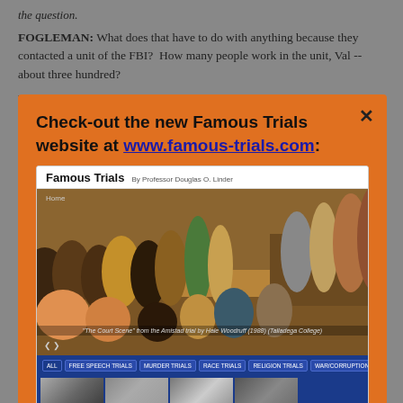the question.
FOGLEMAN: What does that have to do with anything because they contacted a unit of the FBI?  How many people work in the unit, Val -- about three hundred?
PRICE: I don't know how many people work in...
Check-out the new Famous Trials website at www.famous-trials.com:
[Figure (screenshot): Screenshot of Famous Trials website by Professor Douglas O. Linder, showing a painting of a courtroom scene (The Court Scene from the Amistad trial at Talladega College), navigation bar with trial categories (ALL, FREE SPEECH TRIALS, MURDER TRIALS, RACE TRIALS, RELIGION TRIALS, WAR/CORRUPTION/POLITICS TRIALS), and thumbnail images of famous trials.]